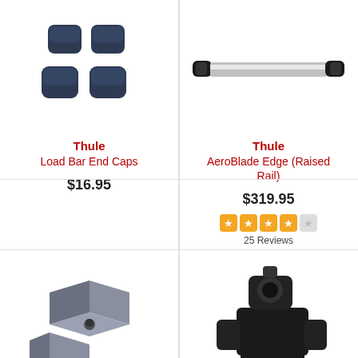[Figure (photo): Four dark navy blue Load Bar End Caps arranged in a 2x2 pattern]
Thule
Load Bar End Caps
$16.95
[Figure (photo): Thule AeroBlade Edge roof rack bar for raised rail, silver and black horizontal bar]
Thule
AeroBlade Edge (Raised Rail)
$319.95
25 Reviews
[Figure (photo): Gray metal cube-shaped mounting blocks/nuts, bottom-left product image]
[Figure (photo): Black bracket/clamp hardware piece, bottom-right product image]